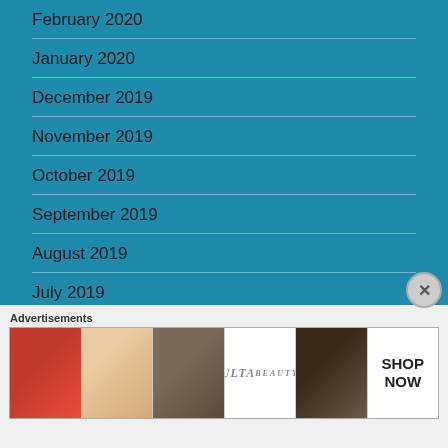February 2020
January 2020
December 2019
November 2019
October 2019
September 2019
August 2019
July 2019
June 2019
May 2019
Advertisements
[Figure (photo): Ulta Beauty advertisement banner with makeup imagery including lips, brush, eyes, Ulta logo, and SHOP NOW call to action]